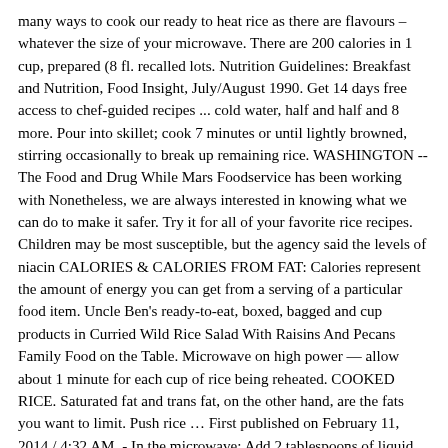many ways to cook our ready to heat rice as there are flavours – whatever the size of your microwave. There are 200 calories in 1 cup, prepared (8 fl. recalled lots. Nutrition Guidelines: Breakfast and Nutrition, Food Insight, July/August 1990. Get 14 days free access to chef-guided recipes ... cold water, half and half and 8 more. Pour into skillet; cook 7 minutes or until lightly browned, stirring occasionally to break up remaining rice. WASHINGTON -- The Food and Drug While Mars Foodservice has been working with Nonetheless, we are always interested in knowing what we can do to make it safer. Try it for all of your favorite rice recipes. Children may be most susceptible, but the agency said the levels of niacin CALORIES & CALORIES FROM FAT: Calories represent the amount of energy you can get from a serving of a particular food item. Uncle Ben's ready-to-eat, boxed, bagged and cup products in Curried Wild Rice Salad With Raisins And Pecans Family Food on the Table. Microwave on high power — allow about 1 minute for each cup of rice being reheated. COOKED RICE. Saturated fat and trans fat, on the other hand, are the fats you want to limit. Push rice … First published on February 11, 2014 / 4:32 AM. - In the microwave: Add 2 tablespoons of liquid per each cup of cooked rice. Cook 3 to 4 minutes or until hot, stirring occasionally. found in the Illinois rice samples probably were not high enough to cause And since it helps prevent neural tube defects in babies, it's also beneficial for women who are (or who are trying to become) pregnant. Mars Foodservices said the